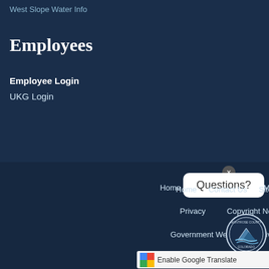West Slope Water Info
Employees
Employee Login
UKG Login
Home   Contact Us   Site Map   Ac...   Privacy   Copyright Notices
Government Websites by CivicPlus®
Questions?
Enable Google Translate